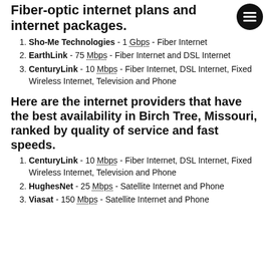Fiber-optic internet plans and internet packages.
Sho-Me Technologies - 1 Gbps - Fiber Internet
EarthLink - 75 Mbps - Fiber Internet and DSL Internet
CenturyLink - 10 Mbps - Fiber Internet, DSL Internet, Fixed Wireless Internet, Television and Phone
Here are the internet providers that have the best availability in Birch Tree, Missouri, ranked by quality of service and fast speeds.
CenturyLink - 10 Mbps - Fiber Internet, DSL Internet, Fixed Wireless Internet, Television and Phone
HughesNet - 25 Mbps - Satellite Internet and Phone
Viasat - 150 Mbps - Satellite Internet and Phone